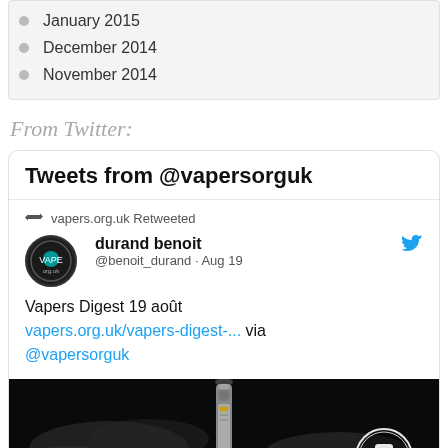January 2015
December 2014
November 2014
From Twitter:
Tweets from @vapersorguk
vapers.org.uk Retweeted
durand benoit @benoit_durand · Aug 19
Vapers Digest 19 août vapers.org.uk/vapers-digest-... via @vapersorguk
[Figure (photo): Dark background photo of a vaping device/e-cigarette with vapor smoke, and a circular logo with a raised fist in the bottom right corner]